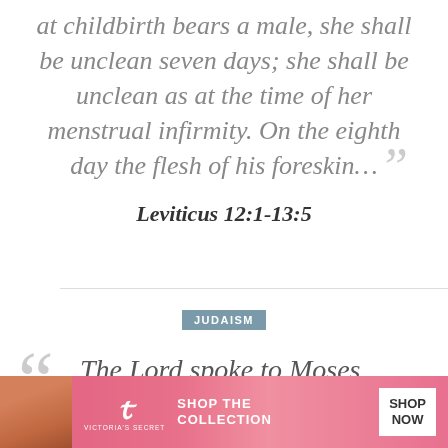at childbirth bears a male, she shall be unclean seven days; she shall be unclean as at the time of her menstrual infirmity. On the eighth day the flesh of his foreskin…
Leviticus 12:1-13:5
JUDAISM
The Lord spoke to Moses,
[Figure (photo): Victoria's Secret advertisement banner with model, VS logo, and Shop The Collection / Shop Now buttons]